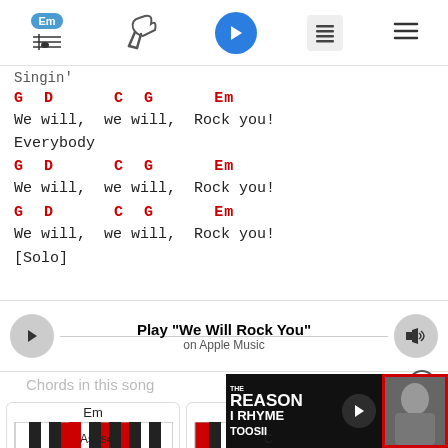Em [logo] | [capo icon] | [play button] | [list icon] | [menu icon]
Singin'
G  D     C  G     Em
We will,  we will,  Rock you!
Everybody
G  D     C  G     Em
We will,  we will,  Rock you!
G  D     C  G     Em
We will,  we will,  Rock you!
[Solo]
Play "We Will Rock You" on Apple Music
Chords in this song
[Figure (illustration): Piano chord diagram for Em]
[Figure (illustration): Piano chord diagram for G]
[Figure (illustration): Ad overlay: THE REASON I RHYME, TOOSII]
Asus4
C